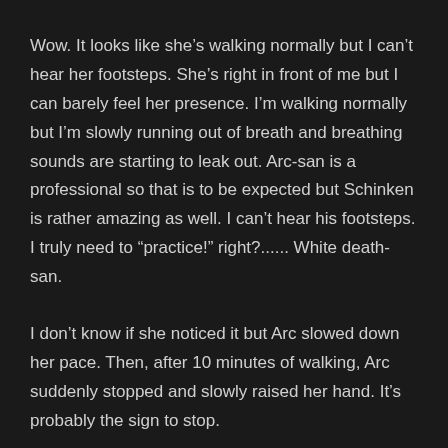Wow. It looks like she’s walking normally but I can’t hear her footsteps. She’s right in front of me but I can barely feel her presence. I’m walking normally but I’m slowly running out of breath and breathing sounds are starting to leak out. Arc-san is a professional so that is to be expected but Schinken is rather amazing as well. I can’t hear his footsteps. I truly need to “practice!” right?...... White death-san.
I don’t know if she noticed it but Arc slowed down her pace. Then, after 10 minutes of walking, Arc suddenly stopped and slowly raised her hand. It’s probably the sign to stop.
She nocked the arrow, slowly pulled the bow back and